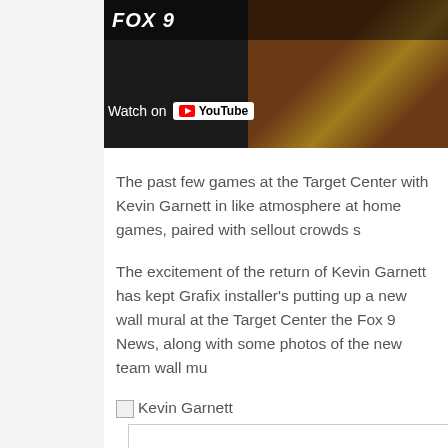[Figure (screenshot): YouTube video thumbnail showing a basketball game on Fox 9 with 'Watch on YouTube' overlay button at the bottom left]
The past few games at the Target Center with Kevin Garnett in like atmosphere at home games, paired with sellout crowds s
The excitement of the return of Kevin Garnett has kept Grafix installer's putting up a new wall mural at the Target Center the Fox 9 News, along with some photos of the new team wall mu
[Figure (photo): Kevin Garnett image (broken/loading)]